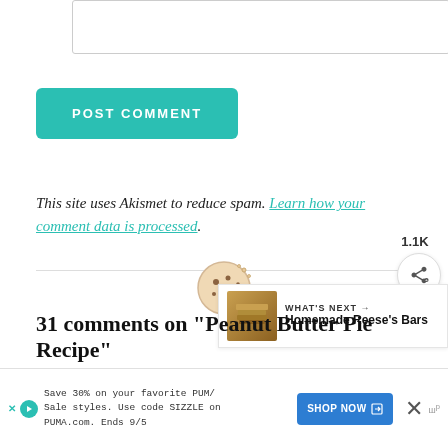[Figure (screenshot): Textarea/comment input box at top of page]
POST COMMENT
This site uses Akismet to reduce spam. Learn how your comment data is processed.
[Figure (illustration): Cookie/loading spinner icon in center]
[Figure (illustration): Heart like button showing 1.1K count and share button on right side]
[Figure (screenshot): What's Next panel showing Homemade Reese's Bars]
31 comments on “Peanut Butter Pie Recipe”
[Figure (screenshot): Advertisement bar: Save 30% on your favorite PUMA Sale styles. Use code SIZZLE on PUMA.com. Ends 9/5 with SHOP NOW button]